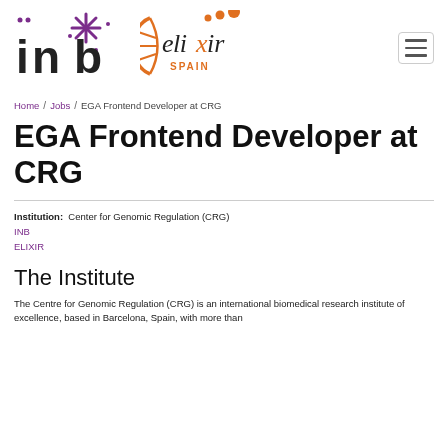[Figure (logo): INB logo — large stylized letters 'inb' in dark grey/black with purple asterisk/star and dots graphic]
[Figure (logo): ELIXIR Spain logo — orange stylized 'elixir' text with DNA helix graphic and 'SPAIN' subtitle]
Home / Jobs / EGA Frontend Developer at CRG
EGA Frontend Developer at CRG
Institution:  Center for Genomic Regulation (CRG)
INB
ELIXIR
The Institute
The Centre for Genomic Regulation (CRG) is an international biomedical research institute of excellence, based in Barcelona, Spain, with more than